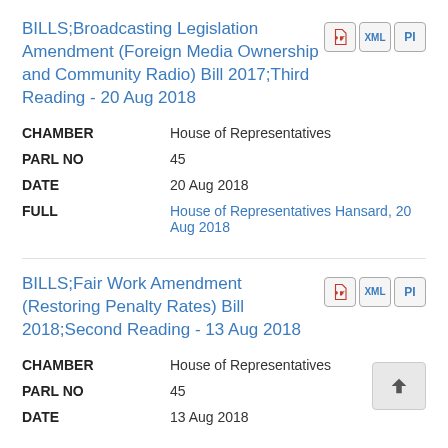BILLS;Broadcasting Legislation Amendment (Foreign Media Ownership and Community Radio) Bill 2017;Third Reading - 20 Aug 2018
| Field | Value |
| --- | --- |
| CHAMBER | House of Representatives |
| PARL NO | 45 |
| DATE | 20 Aug 2018 |
| FULL | House of Representatives Hansard, 20 Aug 2018 |
BILLS;Fair Work Amendment (Restoring Penalty Rates) Bill 2018;Second Reading - 13 Aug 2018
| Field | Value |
| --- | --- |
| CHAMBER | House of Representatives |
| PARL NO | 45 |
| DATE | 13 Aug 2018 |